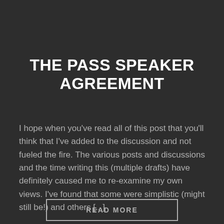THE PASS SPEAKER AGREEMENT
I hope when you've read all of this post that you'll think that I've added to the discussion and not fueled the fire. The various posts and discussions and the time writing this (multiple drafts) have definitely caused me to re-examine my own views. I've found that some were simplistic (might still be!) and others [...]
READ MORE